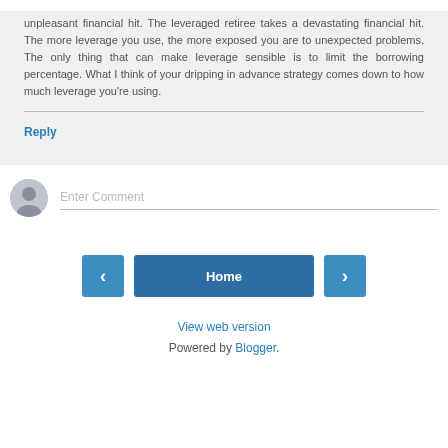unpleasant financial hit. The leveraged retiree takes a devastating financial hit. The more leverage you use, the more exposed you are to unexpected problems. The only thing that can make leverage sensible is to limit the borrowing percentage. What I think of your dripping in advance strategy comes down to how much leverage you're using.
Reply
Enter Comment
Home
View web version
Powered by Blogger.